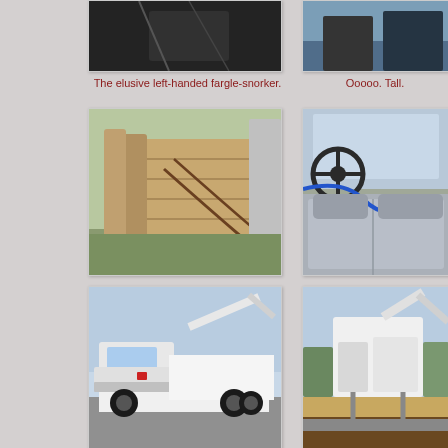[Figure (photo): Partial view of a vehicle or equipment part, cropped at top]
[Figure (photo): Partial view of tall structure or equipment, cropped at top right]
The elusive left-handed fargle-snorker.
Ooooo. Tall.
[Figure (photo): Wooden pallet or boards leaning against a silver structure, outdoors]
[Figure (photo): Interior of a truck cab showing bench seat and steering wheel]
[Figure (photo): White bucket truck / crane truck parked in a lot, side view]
[Figure (photo): Rear view of a flatbed truck with bucket crane equipment mounted]